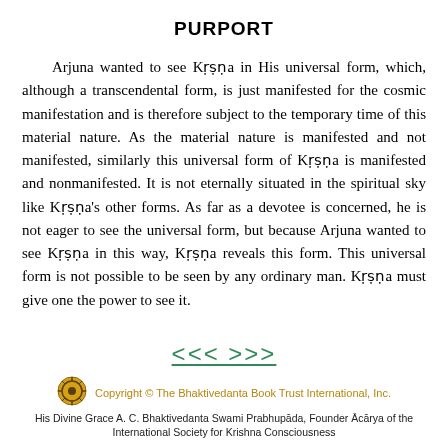PURPORT
Arjuna wanted to see Kṛṣṇa in His universal form, which, although a transcendental form, is just manifested for the cosmic manifestation and is therefore subject to the temporary time of this material nature. As the material nature is manifested and not manifested, similarly this universal form of Kṛṣṇa is manifested and nonmanifested. It is not eternally situated in the spiritual sky like Kṛṣṇa's other forms. As far as a devotee is concerned, he is not eager to see the universal form, but because Arjuna wanted to see Kṛṣṇa in this way, Kṛṣṇa reveals this form. This universal form is not possible to be seen by any ordinary man. Kṛṣṇa must give one the power to see it.
[Figure (other): Navigation links: <<< >>>]
Copyright © The Bhaktivedanta Book Trust International, Inc. His Divine Grace A. C. Bhaktivedanta Swami Prabhupāda, Founder Ācārya of the International Society for Krishna Consciousness